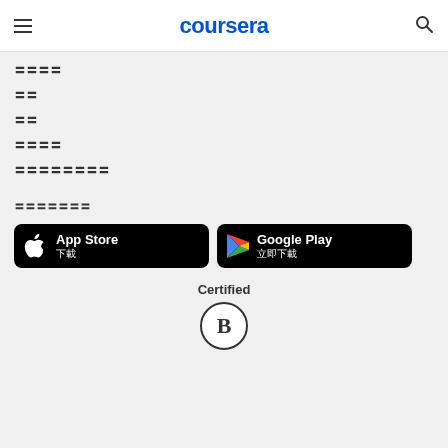coursera
〓〓〓〓
〓〓
〓〓
〓〓〓〓
〓〓〓〓〓〓〓〓
〓〓〓〓〓〓〓
[Figure (screenshot): App Store download button with Apple logo and Chinese text 下載]
[Figure (screenshot): Google Play download button with Play store logo and Chinese text 立即下載]
[Figure (logo): Certified B Corporation logo — circle with letter B inside, text Certified above]